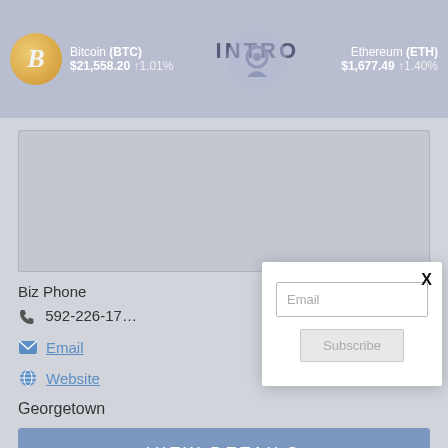Bitcoin (BTC) $21,558.20 ↑1.01% INTRO Ethereum (ETH) $1,677.49 ↑1.40%
[Figure (screenshot): Map or image placeholder area, gray box]
Biz Phone
☎ 592-226-17
✉ Email
🌐 Website
Georgetown
[Figure (screenshot): Modal popup with email input field and Subscribe button, with X close button]
VIEW DETAILS
Citizens Bank with its headquarters located at 231 -233 Camp Street and South Road, Georgetown, had assets of $US 241.8 million at September 30, 2018. Our one hundred and fifty-one (151) employees serve a customer base of